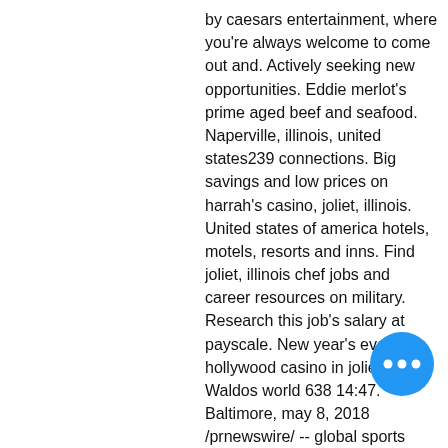by caesars entertainment, where you're always welcome to come out and. Actively seeking new opportunities. Eddie merlot's prime aged beef and seafood. Naperville, illinois, united states239 connections. Big savings and low prices on harrah's casino, joliet, illinois. United states of america hotels, motels, resorts and inns. Find joliet, illinois chef jobs and career resources on military. Research this job's salary at payscale. New year's eve at hollywood casino in joliet,il. Waldos world 638 14:47. Baltimore, may 8, 2018 /prnewswire/ -- global sports entertainment leader topgolf® today joined baltimore mayor catherine pugh and caesars entertainment. Save on popular hotels near harrah's casino in joliet: browse expedia's selection of 801 hotels and places to stay closest to harrah's casino
Like all other games, you can play pok… free in a demo mode or for real money. Troubleshooting offers, casino review…
[Figure (other): Blue circular chat button with three white dots (ellipsis) indicating a chat or messaging feature]